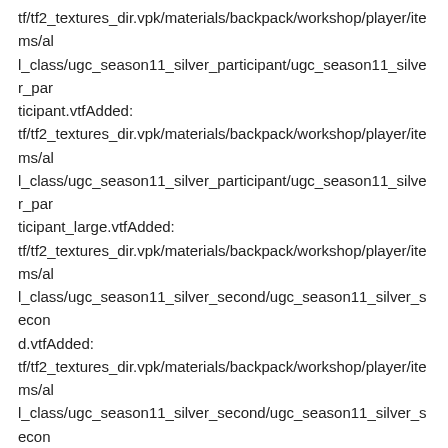tf/tf2_textures_dir.vpk/materials/backpack/workshop/player/items/all_class/ugc_season11_silver_participant/ugc_season11_silver_participant.vtfAdded:
tf/tf2_textures_dir.vpk/materials/backpack/workshop/player/items/all_class/ugc_season11_silver_participant/ugc_season11_silver_participant_large.vtfAdded:
tf/tf2_textures_dir.vpk/materials/backpack/workshop/player/items/all_class/ugc_season11_silver_second/ugc_season11_silver_second.vtfAdded:
tf/tf2_textures_dir.vpk/materials/backpack/workshop/player/items/all_class/ugc_season11_silver_second/ugc_season11_silver_second_large.vtfAdded:
tf/tf2_textures_dir.vpk/materials/backpack/workshop/player/items/all_class/ugc_season11_silver_third/ugc_season11_silver_third.vtfAdded:
tf/tf2_textures_dir.vpk/materials/backpack/workshop/player/items/all_class/ugc_season11_silver_third/ugc_season11_silver_third_large.vtfAdded: